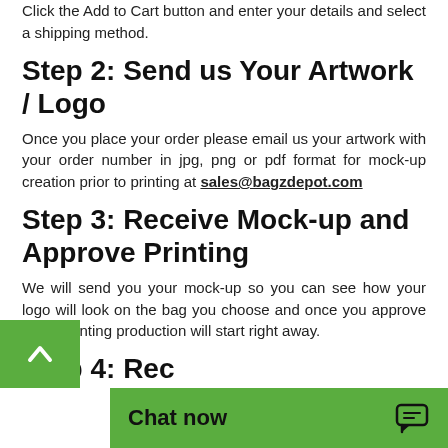Click the Add to Cart button and enter your details and select a shipping method.
Step 2: Send us Your Artwork / Logo
Once you place your order please email us your artwork with your order number in jpg, png or pdf format for mock-up creation prior to printing at sales@bagzdepot.com
Step 3: Receive Mock-up and Approve Printing
We will send you your mock-up so you can see how your logo will look on the bag you choose and once you approve it, the printing production will start right away.
Step 4: Rec...